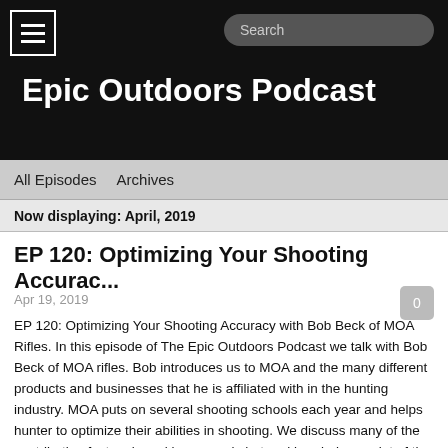Epic Outdoors Podcast
All Episodes   Archives
Now displaying: April, 2019
EP 120: Optimizing Your Shooting Accurac...
Apr 19, 2019
EP 120: Optimizing Your Shooting Accuracy with Bob Beck of MOA Rifles. In this episode of The Epic Outdoors Podcast we talk with Bob Beck of MOA rifles. Bob introduces us to MOA and the many different products and businesses that he is affiliated with in the hunting industry. MOA puts on several shooting schools each year and helps hunter to optimize their abilities in shooting. We discuss many of the contributing factors in making a good shot and break down a lot of the gear that Bob feels is essential to effective shooting in the field.